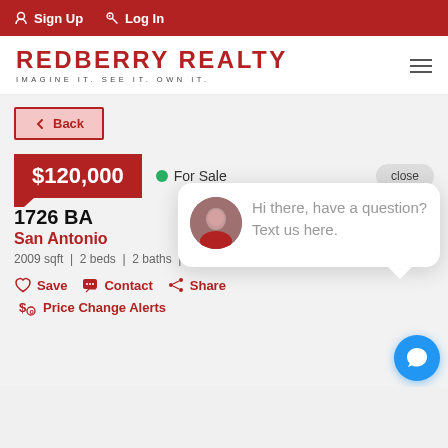Sign Up  Log In
REDBERRY REALTY
IMAGINE IT. SEE IT. OWN IT.
← Back
$120,000
● For Sale   close
1726 BA[...address truncated]
San Antonio[...]
2009 sqft  |  2 beds  |  2 baths  |  #[...]
♡ Save   ✉ Contact   ⋯ Share
$ Price Change Alerts
Hi there, have a question? Text us here.